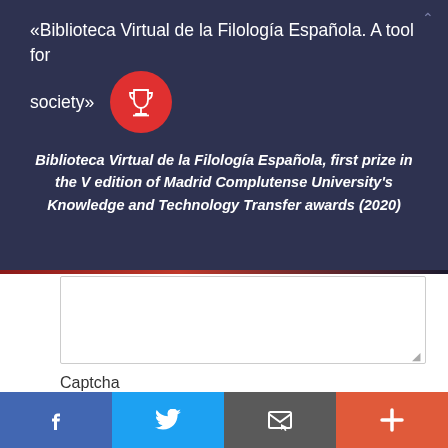«Biblioteca Virtual de la Filología Española. A tool for society»
[Figure (illustration): Red circle with white trophy/cup icon]
Biblioteca Virtual de la Filología Española, first prize in the V edition of Madrid Complutense University's Knowledge and Technology Transfer awards (2020)
Captcha
[Figure (screenshot): reCAPTCHA widget with checkbox and 'I'm not a robot' text]
[Figure (illustration): Social media share bar with Facebook, Twitter, email, and more buttons]